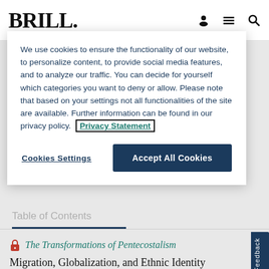BRILL.
We use cookies to ensure the functionality of our website, to personalize content, to provide social media features, and to analyze our traffic. You can decide for yourself which categories you want to deny or allow. Please note that based on your settings not all functionalities of the site are available. Further information can be found in our privacy policy. Privacy Statement
Cookies Settings
Accept All Cookies
Table of Contents
The Transformations of Pentecostalism
Migration, Globalization, and Ethnic Identity
Authors: Peter Althouse and Robby Waddell
Pages: 1–3